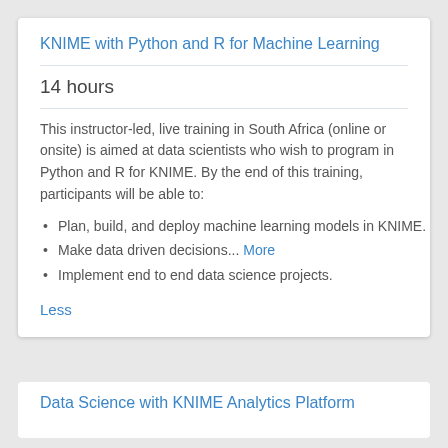KNIME with Python and R for Machine Learning
14 hours
This instructor-led, live training in South Africa (online or onsite) is aimed at data scientists who wish to program in Python and R for KNIME. By the end of this training, participants will be able to:
Plan, build, and deploy machine learning models in KNIME.
Make data driven decisions... More
Implement end to end data science projects.
Less
Data Science with KNIME Analytics Platform